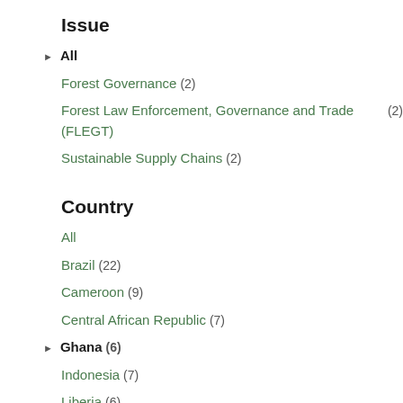Issue
All (active/selected)
Forest Governance (2)
Forest Law Enforcement, Governance and Trade (FLEGT) (2)
Sustainable Supply Chains (2)
Country
All
Brazil (22)
Cameroon (9)
Central African Republic (7)
Ghana (6) (active/selected)
Indonesia (7)
Liberia (6)
The Democratic Republic of Congo (6)
The Republic of Congo (11)
Vietnam (5)